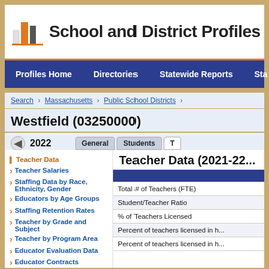School and District Profiles
Profiles Home  Directories  Statewide Reports  Sta...
Search > Massachusetts > Public School Districts >
Westfield (03250000)
2022   General  Students  T...
Teacher Data
Teacher Salaries
Staffing Data by Race, Ethnicity, Gender
Educators by Age Groups
Staffing Retention Rates
Teacher by Grade and Subject
Teacher by Program Area
Educator Evaluation Data
Educator Contracts
Educator Data Dashboard
Teacher Data (2021-22...)
|  |
| --- |
| Total # of Teachers (FTE) |
| Student/Teacher Ratio |
| % of Teachers Licensed |
| Percent of teachers licensed in h... |
| Percent of teachers licensed in h... |
Related Links:
Teacher Data Report